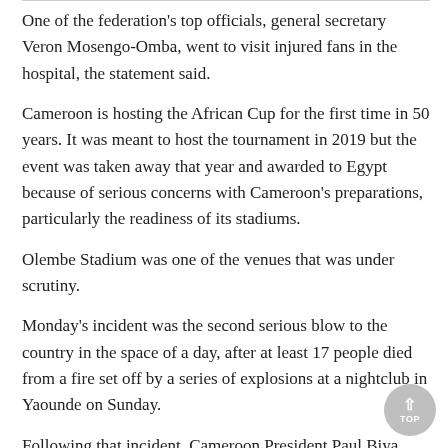One of the federation's top officials, general secretary Veron Mosengo-Omba, went to visit injured fans in the hospital, the statement said.
Cameroon is hosting the African Cup for the first time in 50 years. It was meant to host the tournament in 2019 but the event was taken away that year and awarded to Egypt because of serious concerns with Cameroon's preparations, particularly the readiness of its stadiums.
Olembe Stadium was one of the venues that was under scrutiny.
Monday's incident was the second serious blow to the country in the space of a day, after at least 17 people died from a fire set off by a series of explosions at a nightclub in Yaounde on Sunday.
Following that incident, Cameroon President Paul Biya urged the country to be on guard while it hosts its biggest national sports event in a half century.
Cameroon won Monday's game 2-1 to move on to the quarterfinals.